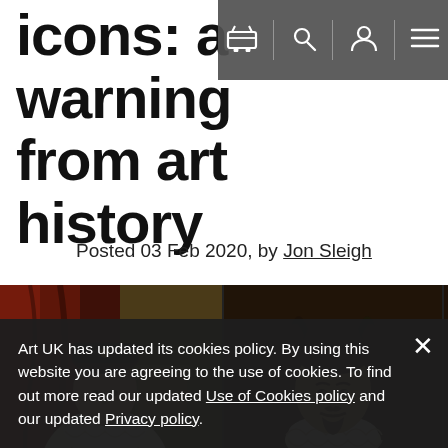icons: a warning from art history
Posted 03 Feb 2020, by Jon Sleigh
[Figure (photo): Two historical portrait paintings side by side: left shows a bearded nobleman in white lace ruff and ornate chain with coat of arms, likely James I; right shows a younger man with dark curly hair and white lace collar, likely a Jacobean courtier. A third partially visible dark painting is on the right edge with a navigation chevron.]
Art UK has updated its cookies policy. By using this website you are agreeing to the use of cookies. To find out more read our updated Use of Cookies policy and our updated Privacy policy.